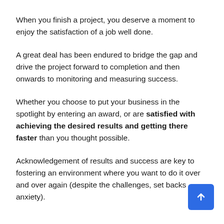When you finish a project, you deserve a moment to enjoy the satisfaction of a job well done.
A great deal has been endured to bridge the gap and drive the project forward to completion and then onwards to monitoring and measuring success.
Whether you choose to put your business in the spotlight by entering an award, or are satisfied with achieving the desired results and getting there faster than you thought possible.
Acknowledgement of results and success are key to fostering an environment where you want to do it over and over again (despite the challenges, set backs anxiety).